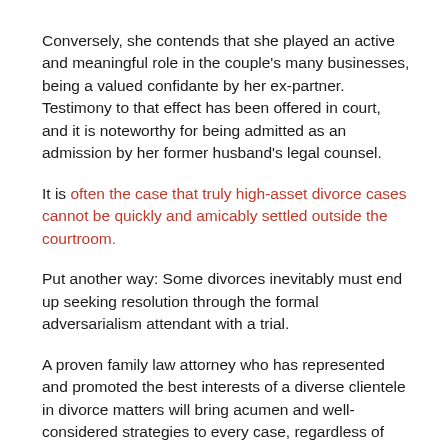Conversely, she contends that she played an active and meaningful role in the couple's many businesses, being a valued confidante by her ex-partner. Testimony to that effect has been offered in court, and it is noteworthy for being admitted as an admission by her former husband's legal counsel.
It is often the case that truly high-asset divorce cases cannot be quickly and amicably settled outside the courtroom.
Put another way: Some divorces inevitably must end up seeking resolution through the formal adversarialism attendant with a trial.
A proven family law attorney who has represented and promoted the best interests of a diverse clientele in divorce matters will bring acumen and well-considered strategies to every case, regardless of whether it can ultimately be resolved through a mediated settlement or must be formally litigated.